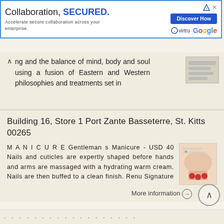[Figure (screenshot): Advertisement banner: 'Collaboration, SECURED.' with Virtru and Google logos and a 'Discover How' button]
ng and the balance of mind, body and soul using a fusion of Eastern and Western philosophies and treatments set in
More information →
Building 16, Store 1 Port Zante Basseterre, St. Kitts 00265
M A N I C U R E Gentleman s Manicure - USD 40 Nails and cuticles are expertly shaped before hands and arms are massaged with a hydrating warm cream. Nails are then buffed to a clean finish. Renu Signature
More information →